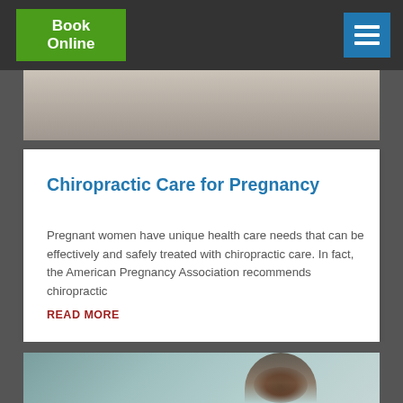[Figure (screenshot): Navigation bar with green Book Online button and blue hamburger menu icon on dark background]
[Figure (photo): Partial photo of a person at the top of the page, cropped]
Chiropractic Care for Pregnancy
Pregnant women have unique health care needs that can be effectively and safely treated with chiropractic care. In fact, the American Pregnancy Association recommends chiropractic
READ MORE
[Figure (photo): Partial photo at bottom showing a young man with dark hair, cropped]